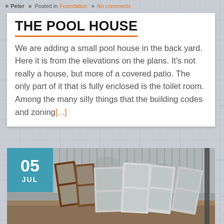Peter  Posted in Foundation  No comments
THE POOL HOUSE
We are adding a small pool house in the back yard.  Here it is from the elevations on the plans. It's not really a house, but more of a covered patio. The only part of it that is fully enclosed is the toilet room.  Among the many silly things that the building codes and zoning[...]
[Figure (photo): Photo of old windows leaning against a metal shed wall, with a teal date badge showing 05 JUL in the upper left corner.]